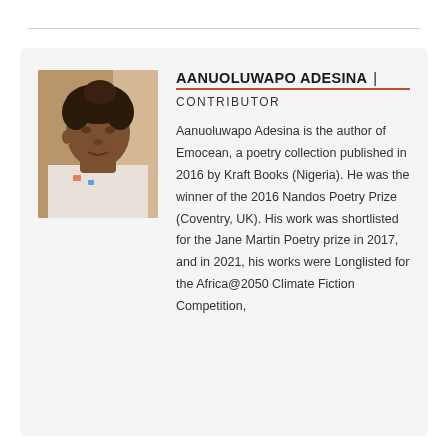[Figure (photo): Portrait photo of Aanuoluwapo Adesina, a young man with braided/curly hair, wearing a white t-shirt, photographed indoors.]
AANUOLUWAPO ADESINA | CONTRIBUTOR
Aanuoluwapo Adesina is the author of Emocean, a poetry collection published in 2016 by Kraft Books (Nigeria). He was the winner of the 2016 Nandos Poetry Prize (Coventry, UK). His work was shortlisted for the Jane Martin Poetry prize in 2017, and in 2021, his works were Longlisted for the Africa@2050 Climate Fiction Competition,